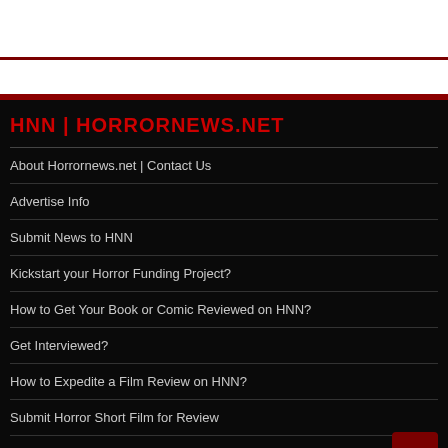HNN | HORRORNEWS.NET
About Horrornews.net | Contact Us
Advertise Info
Submit News to HNN
Kickstart your Horror Funding Project?
How to Get Your Book or Comic Reviewed on HNN?
Get Interviewed?
How to Expedite a Film Review on HNN?
Submit Horror Short Film for Review
HNN Privacy Policy
Login